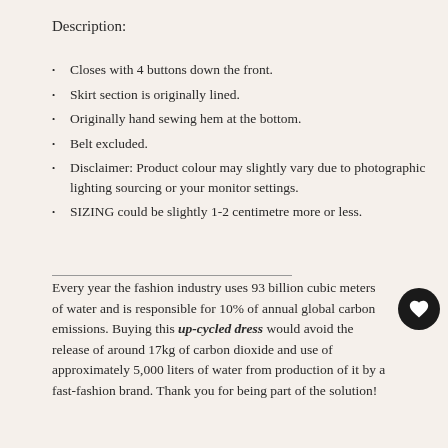Description:
Closes with 4 buttons down the front.
Skirt section is originally lined.
Originally hand sewing hem at the bottom.
Belt excluded.
Disclaimer: Product colour may slightly vary due to photographic lighting sourcing or your monitor settings.
SIZING could be slightly 1-2 centimetre more or less.
Every year the fashion industry uses 93 billion cubic meters of water and is responsible for 10% of annual global carbon emissions. Buying this up-cycled dress would avoid the release of around 17kg of carbon dioxide and use of approximately 5,000 liters of water from production of it by a fast-fashion brand. Thank you for being part of the solution!